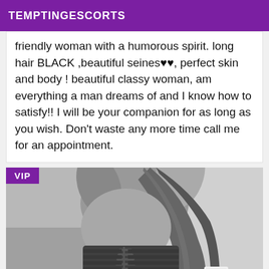TEMPTINGESCORTS
friendly woman with a humorous spirit. long hair BLACK ,beautiful seines♥♥, perfect skin and body ! beautiful classy woman, am everything a man dreams of and I know how to satisfy!! I will be your companion for as long as you wish. Don't waste any more time call me for an appointment.
[Figure (photo): Black and white photo of a woman from behind, wearing a corset-style top with lace-up back detail, with long hair flowing down. A VIP badge overlay is in the top-left corner.]